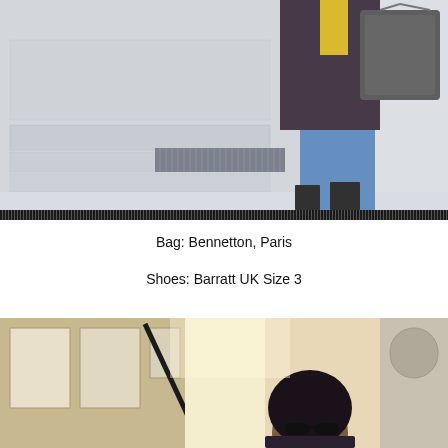[Figure (photo): Street fashion photo showing lower half of a person wearing blue jeans, dark coat, carrying a dark grey bag, with yellow accent visible, wearing black high heels, standing on stone steps in an urban setting]
Bag: Bennetton, Paris
Shoes: Barratt UK Size 3
[Figure (photo): Street fashion photo showing a woman with dark hair and sunglasses outdoors in an urban setting with brick buildings in the background]